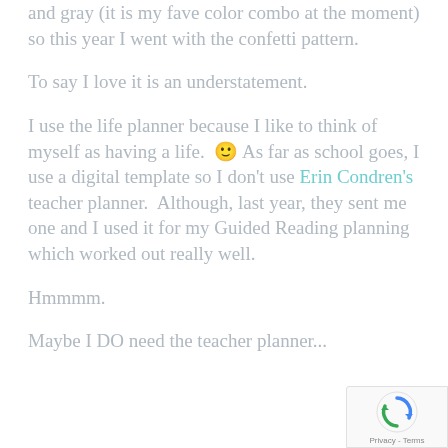and gray (it is my fave color combo at the moment) so this year I went with the confetti pattern.
To say I love it is an understatement.
I use the life planner because I like to think of myself as having a life. 😊 As far as school goes, I use a digital template so I don't use Erin Condren's teacher planner. Although, last year, they sent me one and I used it for my Guided Reading planning which worked out really well.
Hmmmm.
Maybe I DO need the teacher planner...
[Figure (logo): reCAPTCHA badge with rotating arrows icon and Privacy - Terms text]